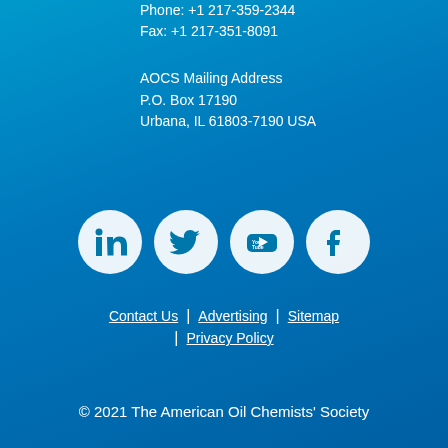Phone: +1 217-359-2344
Fax: +1 217-351-8091
AOCS Mailing Address
P.O. Box 17190
Urbana, IL 61803-7190 USA
[Figure (illustration): Four social media icons in white circles on blue background: LinkedIn, Twitter, YouTube, Facebook]
Contact Us | Advertising | Sitemap
Privacy Policy
© 2021 The American Oil Chemists' Society